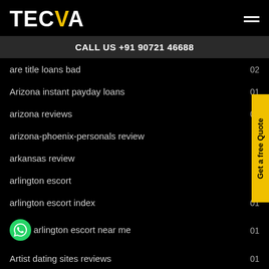TECVA
CALL US +91 90721 46688
are title loans bad  02
Arizona instant payday loans  01
arizona reviews  01
arizona-phoenix-personals review
arkansas review
arlington escort
arlington escort index  01
arlington escort near me  01
Artist dating sites reviews  01